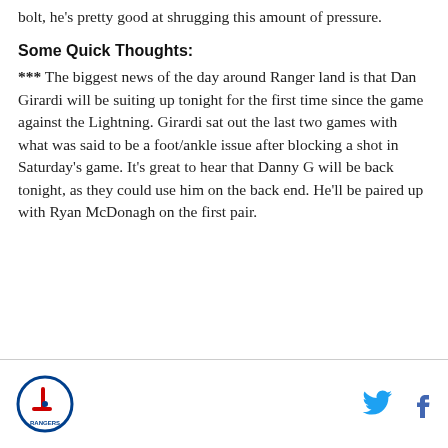bolt, he's pretty good at shrugging this amount of pressure.
Some Quick Thoughts:
*** The biggest news of the day around Ranger land is that Dan Girardi will be suiting up tonight for the first time since the game against the Lightning. Girardi sat out the last two games with what was said to be a foot/ankle issue after blocking a shot in Saturday's game. It's great to hear that Danny G will be back tonight, as they could use him on the back end. He'll be paired up with Ryan McDonagh on the first pair.
Logo and social media icons